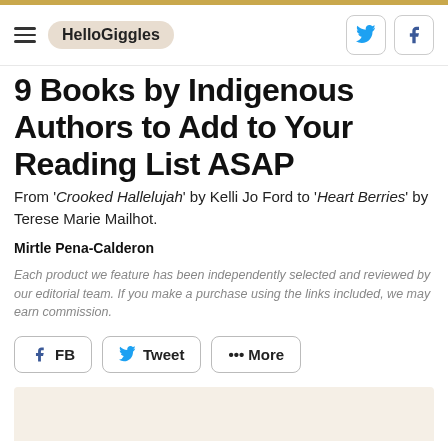HelloGiggles
9 Books by Indigenous Authors to Add to Your Reading List ASAP
From 'Crooked Hallelujah' by Kelli Jo Ford to 'Heart Berries' by Terese Marie Mailhot.
Mirtle Pena-Calderon
Each product we feature has been independently selected and reviewed by our editorial team. If you make a purchase using the links included, we may earn commission.
FB  Tweet  ••• More